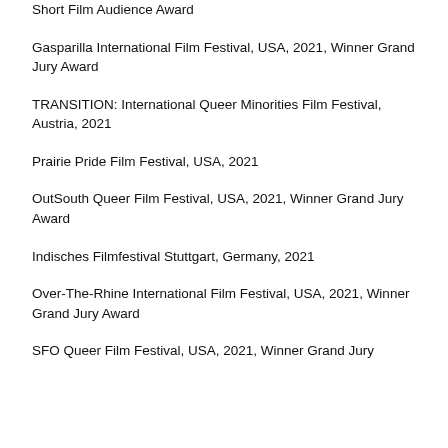Short Film Audience Award
Gasparilla International Film Festival, USA, 2021, Winner Grand Jury Award
TRANSITION: International Queer Minorities Film Festival, Austria, 2021
Prairie Pride Film Festival, USA, 2021
OutSouth Queer Film Festival, USA, 2021, Winner Grand Jury Award
Indisches Filmfestival Stuttgart, Germany, 2021
Over-The-Rhine International Film Festival, USA, 2021, Winner Grand Jury Award
SFO Queer Film Festival, USA, 2021, Winner Grand Jury